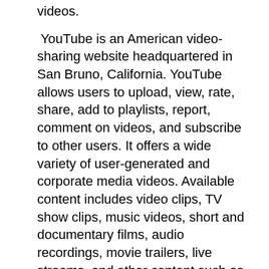videos.
YouTube is an American video-sharing website headquartered in San Bruno, California. YouTube allows users to upload, view, rate, share, add to playlists, report, comment on videos, and subscribe to other users. It offers a wide variety of user-generated and corporate media videos. Available content includes video clips, TV show clips, music videos, short and documentary films, audio recordings, movie trailers, live streams, and other content such as video blogging, short original videos, and educational videos. Most content on YouTube is uploaded by individuals, but media corporations including CBS, the BBC, Vevo, and Hulu offer some of their material via YouTube as part of the YouTube partnership program. Unregistered users can only watch videos on the site, while registered users are permitted to upload an unlimited number of videos and add comments to videos. Videos deemed potentially inappropriate are available only to registered users affirming themselves to be at least 18 years old.
YouTube and selected creators earn advertising